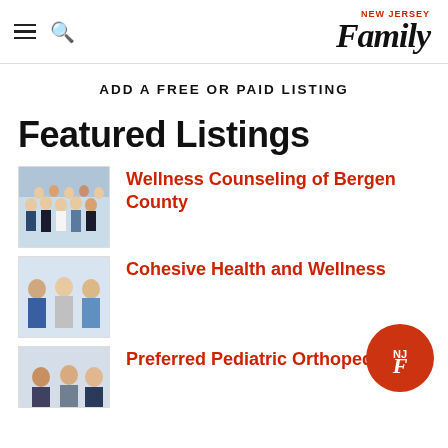NEW JERSEY Family
ADD A FREE OR PAID LISTING
Featured Listings
[Figure (photo): Group photo of multiple women for Wellness Counseling of Bergen County listing thumbnail]
Wellness Counseling of Bergen County
[Figure (photo): Group photo of three professionals (man and two women) for Cohesive Health and Wellness listing thumbnail]
Cohesive Health and Wellness
[Figure (logo): NJ Family circular badge logo with NJF letters in white on orange background]
[Figure (photo): Photo of professionals for Preferred Pediatric Orthopedic listing thumbnail]
Preferred Pediatric Orthopedic